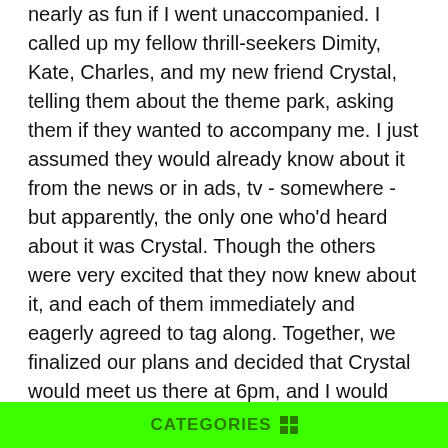nearly as fun if I went unaccompanied. I called up my fellow thrill-seekers Dimity, Kate, Charles, and my new friend Crystal, telling them about the theme park, asking them if they wanted to accompany me. I just assumed they would already know about it from the news or in ads, tv - somewhere - but apparently, the only one who'd heard about it was Crystal. Though the others were very excited that they now knew about it, and each of them immediately and eagerly agreed to tag along. Together, we finalized our plans and decided that Crystal would meet us there at 6pm, and I would pick up the rest to bring them all there. I hung up.
I planned to leave around 3pm since it would take a while to get there and I had to go pick up the rest of them and I wanted to arrive at the park as the sun was going down to maximize the creepiness level. That would leave me with three hours to kill. I impatiently waited for the time to pass by, and finally decided to do some more research on the park. I logged onto my computer, typing “Devil’s Manor theme park” into the search bar, the lack of relevant results surprising me. Of course it was new, but surely there should
CATEGORIES